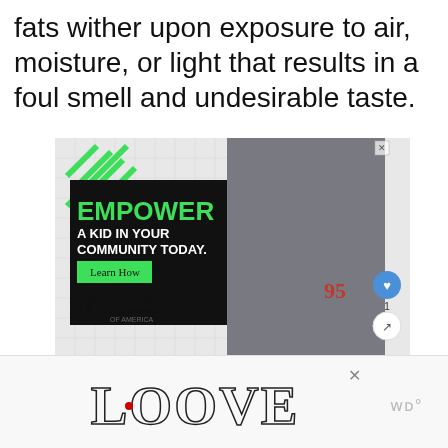fats wither upon exposure to air, moisture, or light that results in a foul smell and undesirable taste.
[Figure (screenshot): Advertisement for Big Brothers Big Sisters of America. Black panel with green text reading 'EMPOWER A KID IN YOUR COMMUNITY TODAY.' with a green 'Learn How' button. Right side shows a photo of an adult man and a boy working together on a model car. Social icons (heart, share) visible on right side. 'WHAT'S NEXT' panel showing 'How Long After Liver...']
[Figure (logo): LOOVE decorative logo text at bottom of page with ornate letter designs]